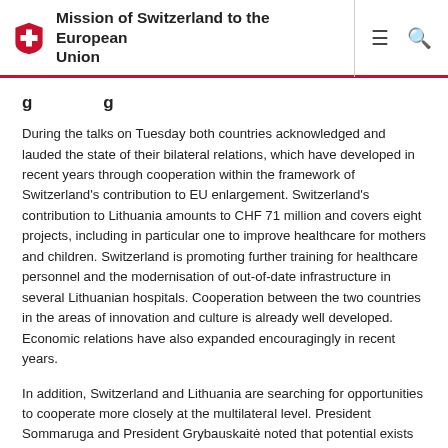Mission of Switzerland to the European Union
[partial heading text cut off at top]
During the talks on Tuesday both countries acknowledged and lauded the state of their bilateral relations, which have developed in recent years through cooperation within the framework of Switzerland's contribution to EU enlargement. Switzerland's contribution to Lithuania amounts to CHF 71 million and covers eight projects, including in particular one to improve healthcare for mothers and children. Switzerland is promoting further training for healthcare personnel and the modernisation of out-of-date infrastructure in several Lithuanian hospitals. Cooperation between the two countries in the areas of innovation and culture is already well developed. Economic relations have also expanded encouragingly in recent years.
In addition, Switzerland and Lithuania are searching for opportunities to cooperate more closely at the multilateral level. President Sommaruga and President Grybauskaitė noted that potential exists in their commitment to promoting women's rights. President Grybauskaitė chairs the Council of Women World Leaders, of which President Sommaruga is also a member.